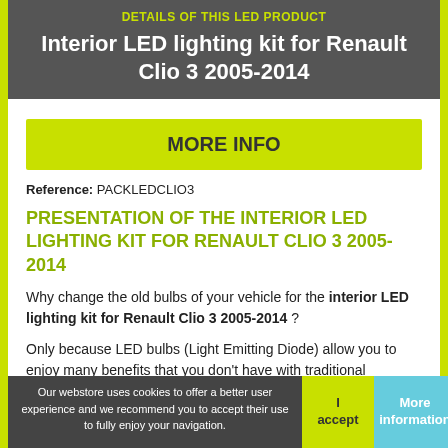DETAILS OF THIS LED PRODUCT
Interior LED lighting kit for Renault Clio 3 2005-2014
MORE INFO
Reference: PACKLEDCLIO3
PRESENTATION OF THE INTERIOR LED LIGHTING KIT FOR RENAULT CLIO 3 2005-2014
Why change the old bulbs of your vehicle for the interior LED lighting kit for Renault Clio 3 2005-2014 ?
Only because LED bulbs (Light Emitting Diode) allow you to enjoy many benefits that you don't have with traditional
Our webstore uses cookies to offer a better user experience and we recommend you to accept their use to fully enjoy your navigation.